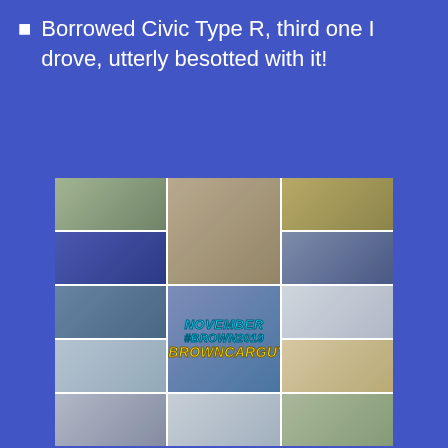Borrowed Civic Type R, third one I drove, utterly besotted with it!
[Figure (photo): A collage of multiple photos showing a man (Brown Car Guy) with various cars and people in November 2019. The collage contains approximately 13 photos arranged in a grid, with an overlaid text reading 'November #BROWN2019 BROWNCARGUY' in stylized lettering. Photos show the man with classic cars, modern cars, family members, and at various events.]